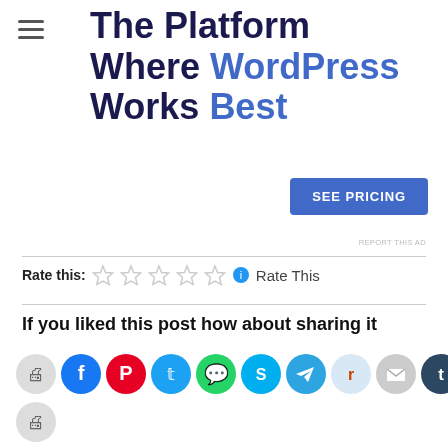The Platform Where WordPress Works Best
[Figure (screenshot): SEE PRICING button (blue)]
REPORT THIS AD
Rate this: ☆☆☆☆☆ 🌐 Rate This
If you liked this post how about sharing it
[Figure (infographic): Row of social sharing icon buttons: print, facebook, pinterest, twitter, whatsapp, skype, telegram, reddit, email, tumblr, linkedin]
[Figure (infographic): Second row with print icon button]
[Figure (infographic): Like button with star and user avatar thumbnails]